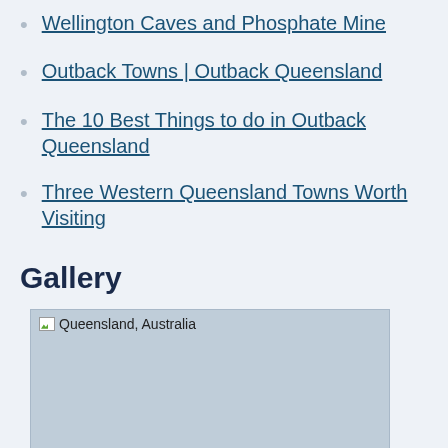Wellington Caves and Phosphate Mine
Outback Towns | Outback Queensland
The 10 Best Things to do in Outback Queensland
Three Western Queensland Towns Worth Visiting
Gallery
[Figure (photo): Placeholder image box labeled 'Queensland, Australia' with a broken image icon]
Queensland, Australia - May 12, 2016: "Welcome to Queensl... sign standing beside the highway in the outback.